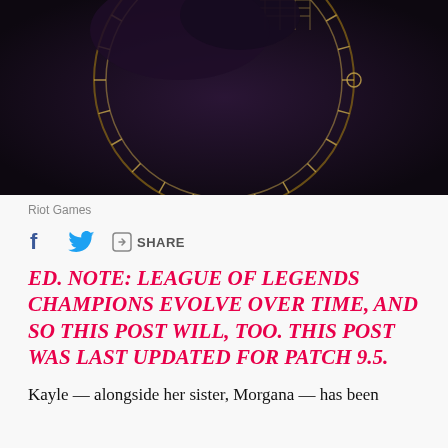[Figure (screenshot): Dark fantasy game art showing circular golden astronomical/clock decoration on dark background — League of Legends champion splash art]
Riot Games
ED. NOTE: LEAGUE OF LEGENDS CHAMPIONS EVOLVE OVER TIME, AND SO THIS POST WILL, TOO. THIS POST WAS LAST UPDATED FOR PATCH 9.5.
Kayle — alongside her sister, Morgana — has been